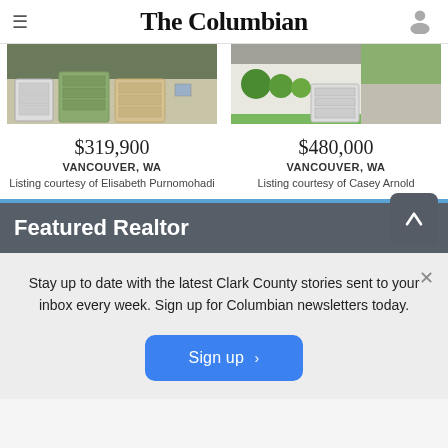The Columbian
[Figure (photo): House exterior with garage doors in green and tan colors]
$319,900
VANCOUVER, WA
Listing courtesy of Elisabeth Purnomohadi
[Figure (photo): House exterior with green lawn and garage]
$480,000
VANCOUVER, WA
Listing courtesy of Casey Arnold
Featured Realtor
Stay up to date with the latest Clark County stories sent to your inbox every week. Sign up for Columbian newsletters today.